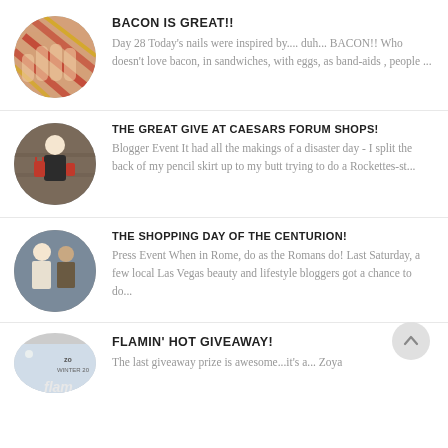[Figure (photo): Circular thumbnail of bacon-themed nail art with red and gold colors]
BACON IS GREAT!!
Day 28 Today's nails were inspired by.... duh... BACON!! Who doesn't love bacon, in sandwiches, with eggs, as band-aids , people ...
[Figure (photo): Circular thumbnail of a person holding red shopping bags at Caesars Forum Shops]
THE GREAT GIVE AT CAESARS FORUM SHOPS!
Blogger Event It had all the makings of a disaster day - I split the back of my pencil skirt up to my butt trying to do a Rockettes-st...
[Figure (photo): Circular thumbnail of two people posing together at The Shopping Day of the Centurion event]
THE SHOPPING DAY OF THE CENTURION!
Press Event When in Rome, do as the Romans do! Last Saturday, a few local Las Vegas beauty and lifestyle bloggers got a chance to do...
[Figure (photo): Circular thumbnail of Zoya Flamin' Hot product with winter text visible]
FLAMIN' HOT GIVEAWAY!
The last giveaway prize is awesome...it's a... Zoya